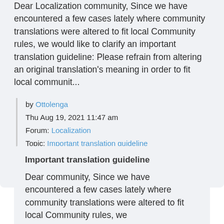Dear Localization community, Since we have encountered a few cases lately where community translations were altered to fit local Community rules, we would like to clarify an important translation guideline: Please refrain from altering an original translation's meaning in order to fit local communit...
by Ottolenga
Thu Aug 19, 2021 11:47 am
Forum: Localization
Topic: Important translation guideline
Replies: 1
Views: 299
Important translation guideline
Dear community, Since we have encountered a few cases lately where community translations were altered to fit local Community rules, we would like to clarify an important translation guideline...